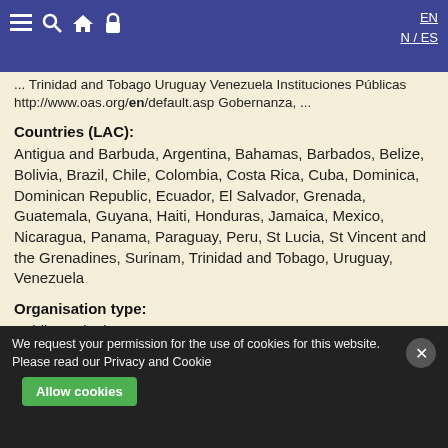≡ 🔍 🏠 🔒   EN / ES
... Trinidad and Tobago Uruguay Venezuela Instituciones Públicas http://www.oas.org/en/default.asp Gobernanza, ...
Countries (LAC): Antigua and Barbuda, Argentina, Bahamas, Barbados, Belize, Bolivia, Brazil, Chile, Colombia, Costa Rica, Cuba, Dominica, Dominican Republic, Ecuador, El Salvador, Grenada, Guatemala, Guyana, Haiti, Honduras, Jamaica, Mexico, Nicaragua, Panama, Paraguay, Peru, St Lucia, St Vincent and the Grenadines, Surinam, Trinidad and Tobago, Uruguay, Venezuela
Organisation type: Public Institutions
Areas of Interest: Governance, Political Affairs, Justice and Human Rights,
We request your permission for the use of cookies for this website. Please read our Privacy and Cookie